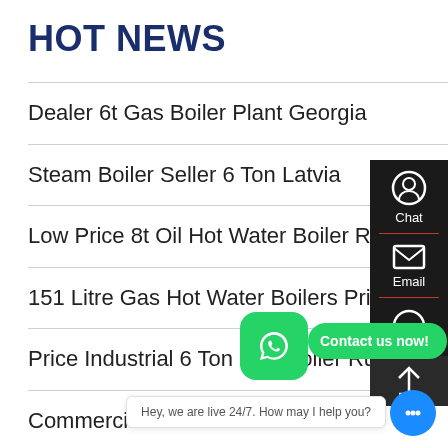HOT NEWS
Dealer 6t Gas Boiler Plant Georgia
Steam Boiler Seller 6 Ton Latvia
Low Price 8t Oil Hot Water Boiler Russia
151 Litre Gas Hot Water Boilers Prices
Price Industrial 6 Ton Gas Boiler Russia
Commercial Boiler Dealer
4t Diesel Hot Water Boiler Commercial
6T Heavy Oil Diesel Fired Steam Boiler
40ton Italian Boiler Models
[Figure (screenshot): Side panel with Chat and Email icons on dark background, WhatsApp contact bubble, live chat tooltip, and scroll-to-top button]